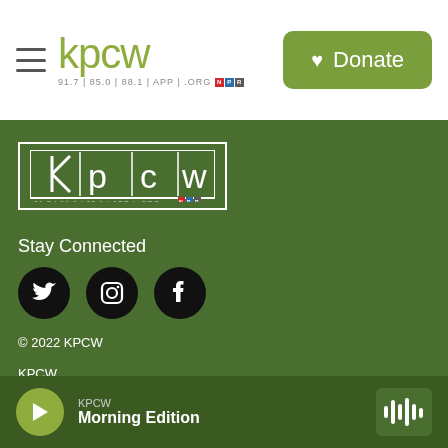[Figure (logo): KPCW radio station logo with hamburger menu and NPR badge, top header]
Donate
[Figure (logo): KPCW logo in white outline box on green background footer]
Stay Connected
[Figure (infographic): Twitter, Instagram, and Facebook social media icons as black circles]
© 2022 KPCW
KPCW
Spencer F. Eccles Broadcast Center
PO Box 1372 | 460 Swede Alley
KPCW
Morning Edition